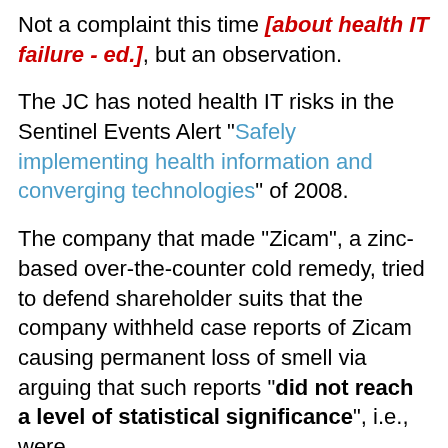Not a complaint this time [about health IT failure - ed.], but an observation.
The JC has noted health IT risks in the Sentinel Events Alert "Safely implementing health information and converging technologies" of 2008.
The company that made "Zicam", a zinc-based over-the-counter cold remedy, tried to defend shareholder suits that the company withheld case reports of Zicam causing permanent loss of smell via arguing that such reports "did not reach a level of statistical significance", i.e., were